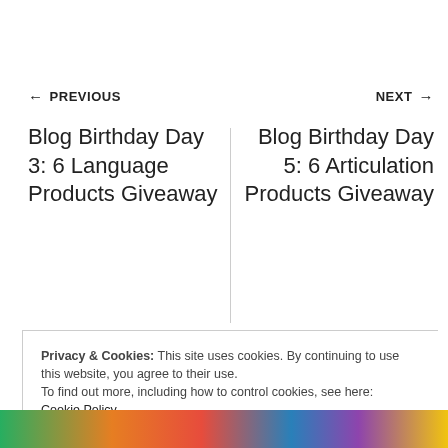← PREVIOUS
Blog Birthday Day 3: 6 Language Products Giveaway
NEXT →
Blog Birthday Day 5: 6 Articulation Products Giveaway
Privacy & Cookies: This site uses cookies. By continuing to use this website, you agree to their use.
To find out more, including how to control cookies, see here:
Cookie Policy
Close and accept